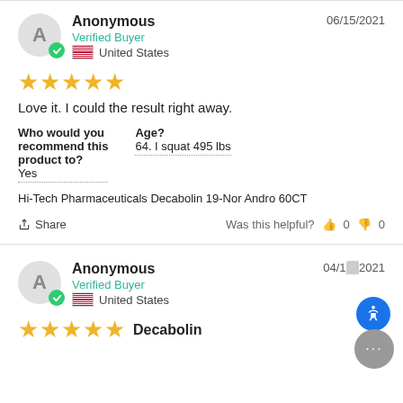Anonymous — Verified Buyer — United States — 06/15/2021
★★★★★
Love it. I could the result right away.
Who would you recommend this product to? Yes
Age? 64. I squat 495 lbs
Hi-Tech Pharmaceuticals Decabolin 19-Nor Andro 60CT
Share | Was this helpful? 👍 0 👎 0
Anonymous — Verified Buyer — United States — 04/1_/2021
★★★★★ Decabolin